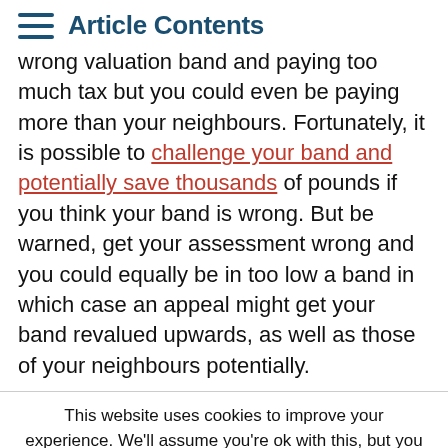Article Contents
wrong valuation band and paying too much tax but you could even be paying more than your neighbours. Fortunately, it is possible to challenge your band and potentially save thousands of pounds if you think your band is wrong. But be warned, get your assessment wrong and you could equally be in too low a band in which case an appeal might get your band revalued upwards, as well as those of your neighbours potentially.
This website uses cookies to improve your experience. We'll assume you're ok with this, but you can opt-out if you wish. Accept Reject Read More